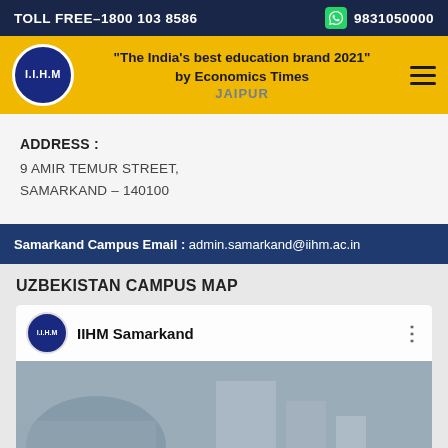TOLL FREE-1800 103 8586   9831050000
[Figure (logo): IIHM logo circular badge with navigation bar showing tagline and JAIPUR city label]
ADDRESS :
9 AMIR TEMUR STREET,
SAMARKAND – 140100
Samarkand Campus Email : admin.samarkand@iihm.ac.in
UZBEKISTAN CAMPUS MAP
[Figure (screenshot): IIHM Samarkand YouTube video thumbnail showing IIHM logo, channel name and background image of Samarkand architecture]